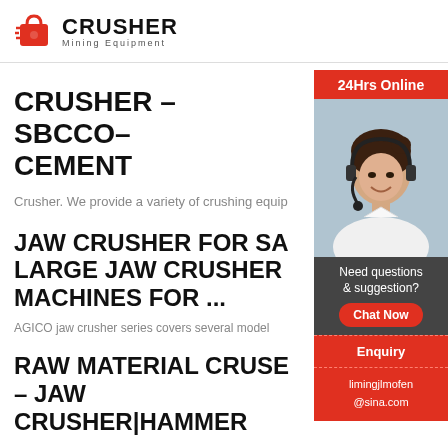[Figure (logo): Crusher Mining Equipment logo with red shopping bag icon and bold CRUSHER text, Mining Equipment subtitle]
CRUSHER – SBCCO– CEMENT
Crusher. We provide a variety of crushing equip
JAW CRUSHER FOR SA LARGE JAW CRUSHER MACHINES FOR ...
AGICO jaw crusher series covers several model
[Figure (photo): 24Hrs Online banner with photo of woman wearing headset smiling, Need questions & suggestion? with Chat Now button, Enquiry section, limingjlmofen@sina.com email]
RAW MATERIAL CRUSE – JAW CRUSHER|HAMMER